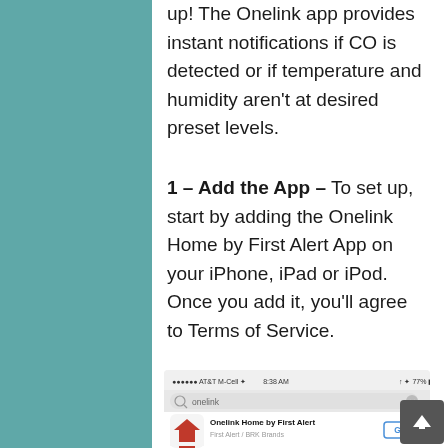up! The Onelink app provides instant notifications if CO is detected or if temperature and humidity aren't at desired preset levels.
1 – Add the App – To set up, start by adding the Onelink Home by First Alert App on your iPhone, iPad or iPod. Once you add it, you'll agree to Terms of Service.
[Figure (screenshot): iPhone App Store screenshot showing search for 'onelink' with the Onelink Home by First Alert app result and a GET button. Status bar shows AT&T M-Cell, 8:38 AM, 77% battery.]